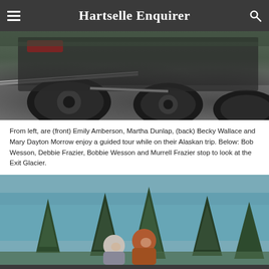Hartselle Enquirer
[Figure (photo): Close-up of large off-road vehicle wheels and undercarriage on gravel, with a tow bar visible]
From left, are (front) Emily Amberson, Martha Dunlap, (back) Becky Wallace and Mary Dayton Morrow enjoy a guided tour while on their Alaskan trip. Below: Bob Wesson, Debbie Frazier, Bobbie Wesson and Murrell Frazier stop to look at the Exit Glacier.
[Figure (photo): People standing in front of evergreen trees with a turquoise glacial lake in the background at Exit Glacier, Alaska]
[Figure (other): Advertisement for TNValleyJobFinder.com reading 'Need a Job? SEARCH NOW!']